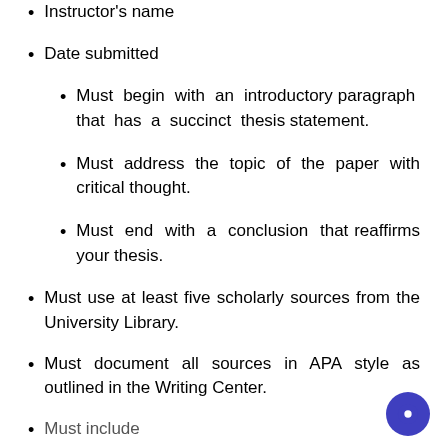Instructor's name
Date submitted
Must begin with an introductory paragraph that has a succinct thesis statement.
Must address the topic of the paper with critical thought.
Must end with a conclusion that reaffirms your thesis.
Must use at least five scholarly sources from the University Library.
Must document all sources in APA style as outlined in the Writing Center.
Must include...